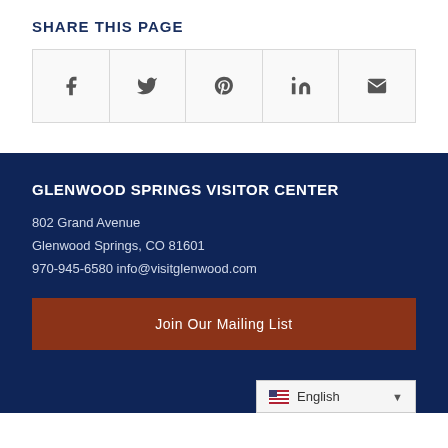SHARE THIS PAGE
[Figure (infographic): Social sharing icons row: Facebook, Twitter, Pinterest, LinkedIn, Email]
GLENWOOD SPRINGS VISITOR CENTER
802 Grand Avenue
Glenwood Springs, CO 81601
970-945-6580 info@visitglenwood.com
Join Our Mailing List
English